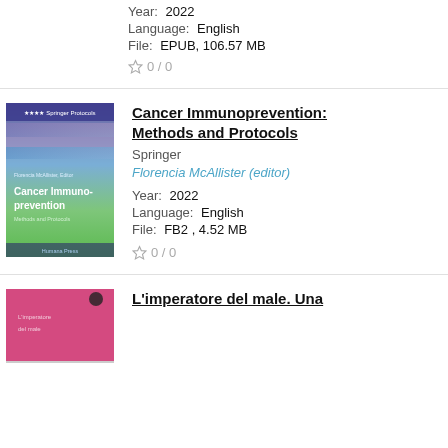Year: 2022
Language: English
File: EPUB, 106.57 MB
☆ 0 / 0
[Figure (photo): Book cover: Cancer Immunoprevention Methods and Protocols, Springer Protocols, green/blue gradient cover]
Cancer Immunoprevention: Methods and Protocols
Springer
Florencia McAllister (editor)
Year: 2022
Language: English
File: FB2 , 4.52 MB
☆ 0 / 0
[Figure (photo): Book cover: L'imperatore del male, pink cover]
L'imperatore del male. Una